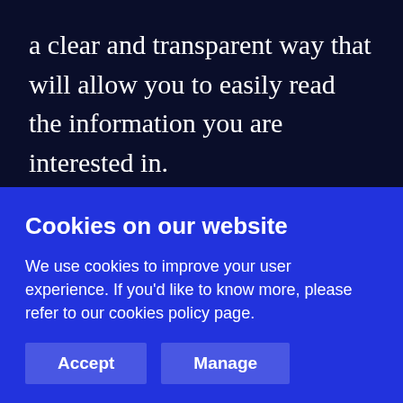a clear and transparent way that will allow you to easily read the information you are interested in.

Majestic – It's one of the best link intelligence tools available to website owners. Not only it works as a great
Cookies on our website
We use cookies to improve your user experience. If you'd like to know more, please refer to our cookies policy page.